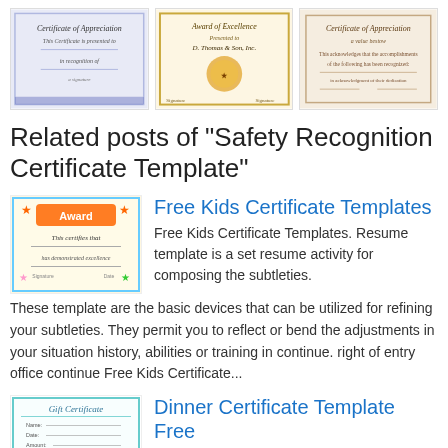[Figure (illustration): Three certificate template thumbnails shown in a row at top of page]
Related posts of "Safety Recognition Certificate Template"
[Figure (illustration): Free Kids Certificate Templates thumbnail - colorful award certificate image]
Free Kids Certificate Templates
Free Kids Certificate Templates. Resume template is a set resume activity for composing the subtleties. These template are the basic devices that can be utilized for refining your subtleties. They permit you to reflect or bend the adjustments in your situation history, abilities or training in continue. right of entry office continue Free Kids Certificate...
[Figure (illustration): Dinner Certificate Template Free thumbnail - gift certificate image]
Dinner Certificate Template Free
Dinner Certificate Template Free. Resume template is